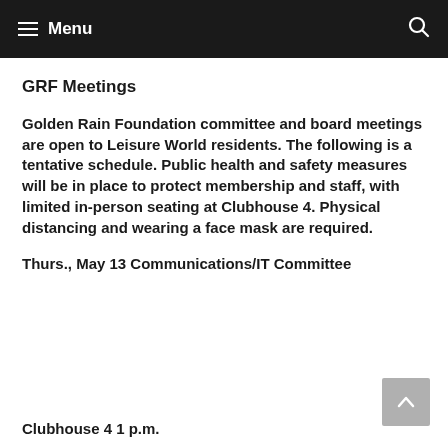Menu
GRF Meetings
Golden Rain Foundation committee and board meetings are open to Leisure World residents. The following is a tentative schedule. Public health and safety measures will be in place to protect membership and staff, with limited in-person seating at Clubhouse 4. Physical distancing and wearing a face mask are required.
Thurs., May 13 Communications/IT Committee
Clubhouse 4 1 p.m.